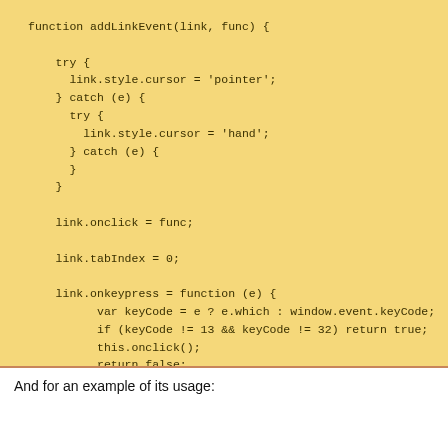function addLinkEvent(link, func) {

    try {
      link.style.cursor = 'pointer';
    } catch (e) {
      try {
        link.style.cursor = 'hand';
      } catch (e) {
      }
    }

    link.onclick = func;

    link.tabIndex = 0;

    link.onkeypress = function (e) {
          var keyCode = e ? e.which : window.event.keyCode;
          if (keyCode != 13 && keyCode != 32) return true;
          this.onclick();
          return false;
      };

}
And for an example of its usage: